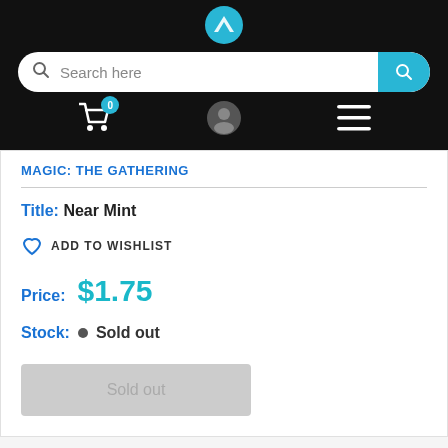[Figure (screenshot): App navigation header with logo, search bar, cart icon with badge 0, user icon, and hamburger menu on black background]
MAGIC: THE GATHERING
Title: Near Mint
ADD TO WISHLIST
Price: $1.75
Stock: Sold out
Sold out